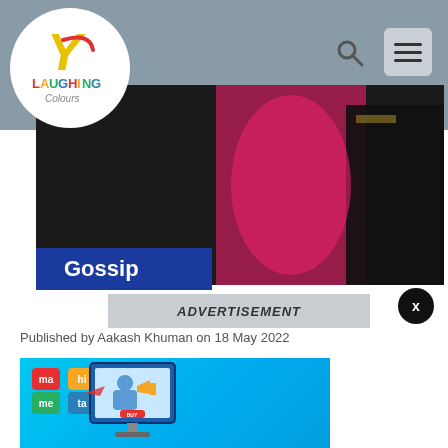[Figure (logo): Laughing Colours website logo in a white circle over grey nav bar]
[Figure (photo): Hero image showing a woman in pink saree and man in black against dark background]
Gossip
ADVERTISEMENT
Published by Aakash Khuman on 18 May 2022
[Figure (screenshot): MahiMeta advertisement banner with blue background, grid logo, and digital marketing illustration showing monitor with person holding megaphone]